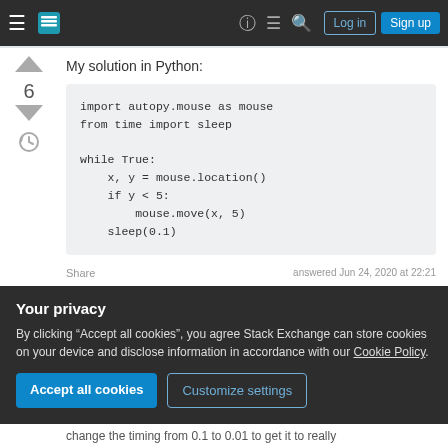Stack Exchange navigation bar with hamburger menu, logo, help, chat, search icons, Log in and Sign up buttons
My solution in Python:
6
import autopy.mouse as mouse
from time import sleep

while True:
    x, y = mouse.location()
    if y < 5:
        mouse.move(x, 5)
    sleep(0.1)
Share
answered Jun 24, 2020 at 22:21
Your privacy
By clicking “Accept all cookies”, you agree Stack Exchange can store cookies on your device and disclose information in accordance with our Cookie Policy.
Accept all cookies
Customize settings
change the timing from 0.1 to 0.01 to get it to really